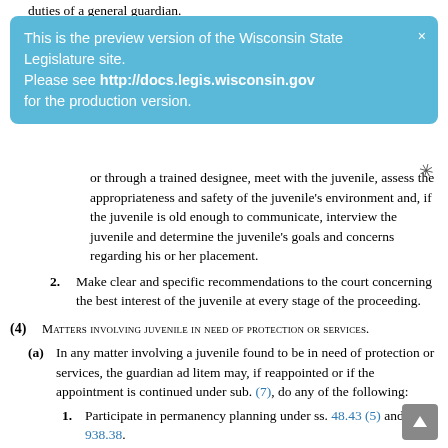duties of a general guardian.
This is the preview version of the Wisconsin State Legislature site.
Please see http://docs.legis.wisconsin.gov for the production version.
or through a trained designee, meet with the juvenile, assess the appropriateness and safety of the juvenile's environment and, if the juvenile is old enough to communicate, interview the juvenile and determine the juvenile's goals and concerns regarding his or her placement.
2. Make clear and specific recommendations to the court concerning the best interest of the juvenile at every stage of the proceeding.
(4) MATTERS INVOLVING JUVENILE IN NEED OF PROTECTION OR SERVICES.
(a) In any matter involving a juvenile found to be in need of protection or services, the guardian ad litem may, if reappointed or if the appointment is continued under sub. (7), do any of the following:
1. Participate in permanency planning under ss. 48.43 (5) and 938.38.
2. Petition for a change in placement under s. 938.357.
3. Petition for termination of parental rights or any other